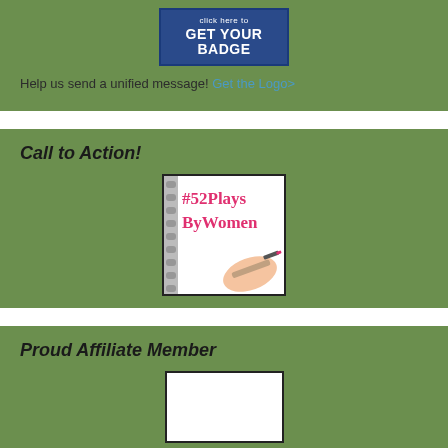[Figure (logo): Dark blue badge button with 'click here to GET YOUR BADGE' in white text]
Help us send a unified message! Get the Logo>
Call to Action!
[Figure (illustration): Notebook image with '#52Plays ByWomen' written in pink cursive, with a hand holding a pen]
Proud Affiliate Member
[Figure (logo): White rectangular box (affiliate member logo placeholder)]